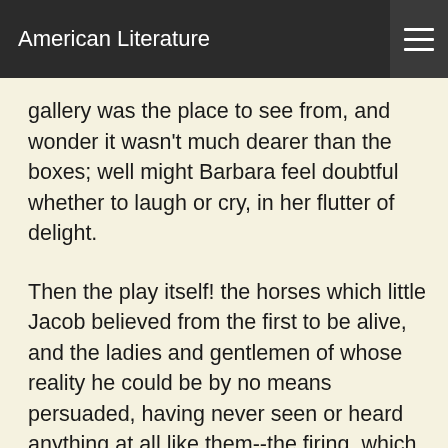American Literature
gallery was the place to see from, and wonder it wasn't much dearer than the boxes; well might Barbara feel doubtful whether to laugh or cry, in her flutter of delight.
Then the play itself! the horses which little Jacob believed from the first to be alive, and the ladies and gentlemen of whose reality he could be by no means persuaded, having never seen or heard anything at all like them--the firing, which made Barbara wink--the forlorn lady, who made her cry--the tyrant, who made her tremble--the man who sang the song with the lady's-maid and danced the chorus, who made her laugh--the pony who reared